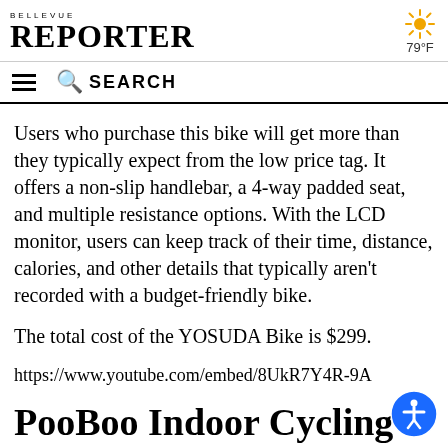BELLEVUE REPORTER
Users who purchase this bike will get more than they typically expect from the low price tag. It offers a non-slip handlebar, a 4-way padded seat, and multiple resistance options. With the LCD monitor, users can keep track of their time, distance, calories, and other details that typically aren't recorded with a budget-friendly bike.
The total cost of the YOSUDA Bike is $299.
https://www.youtube.com/embed/8UkR7Y4R-9A
PooBoo Indoor Cycling Bike